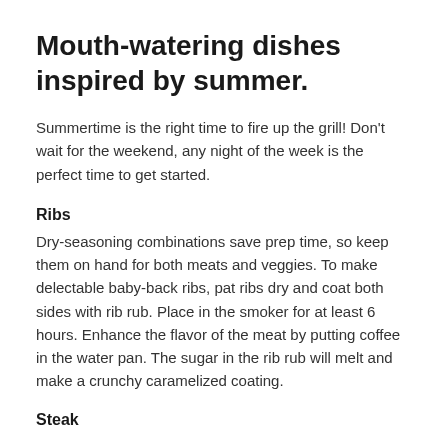Mouth-watering dishes inspired by summer.
Summertime is the right time to fire up the grill! Don't wait for the weekend, any night of the week is the perfect time to get started.
Ribs
Dry-seasoning combinations save prep time, so keep them on hand for both meats and veggies. To make delectable baby-back ribs, pat ribs dry and coat both sides with rib rub. Place in the smoker for at least 6 hours. Enhance the flavor of the meat by putting coffee in the water pan. The sugar in the rib rub will melt and make a crunchy caramelized coating.
Steak